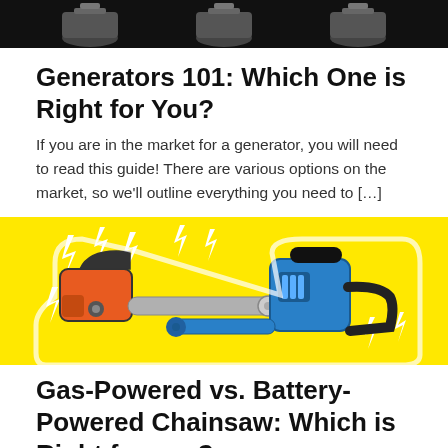[Figure (photo): Black background with generator product images at the top]
Generators 101: Which One is Right for You?
If you are in the market for a generator, you will need to read this guide! There are various options on the market, so we'll outline everything you need to […]
[Figure (illustration): Yellow background with orange gas-powered chainsaw and blue battery-powered chainsaw with lightning bolt icons]
Gas-Powered vs. Battery-Powered Chainsaw: Which is Right for you?
We put a gas and battery-powered chainsaw head-to-head to find out which one comes out on top. We…